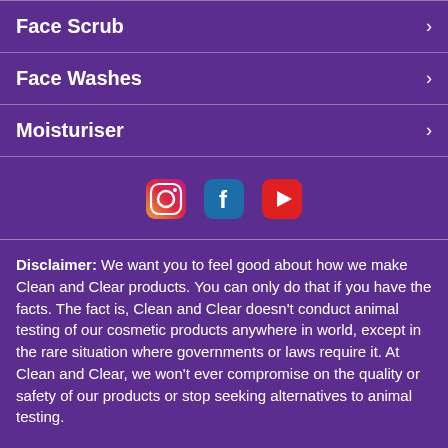Face Scrub
Face Washes
Moisturiser
[Figure (infographic): Social media icons: Instagram, Facebook, YouTube]
Disclaimer: We want you to feel good about how we make Clean and Clear products. You can only do that if you have the facts. The fact is, Clean and Clear doesn't conduct animal testing of our cosmetic products anywhere in world, except in the rare situation where governments or laws require it. At Clean and Clear, we won't ever compromise on the quality or safety of our products or stop seeking alternatives to animal testing.